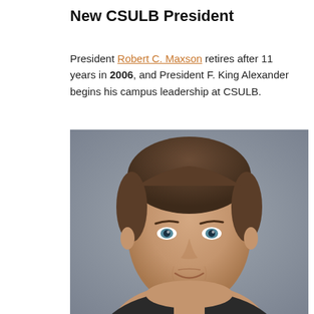New CSULB President
President Robert C. Maxson retires after 11 years in 2006, and President F. King Alexander begins his campus leadership at CSULB.
[Figure (photo): Headshot portrait of F. King Alexander, a middle-aged man with brown hair and blue eyes, smiling slightly, against a grey background.]